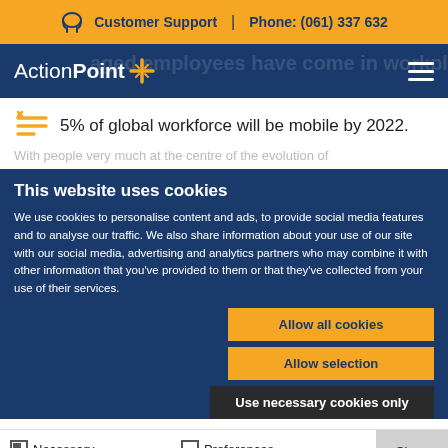Customer Support  |  Phone: (061) 337 632
[Figure (logo): ActionPoint logo with gold cross symbol]
5% of global workforce will be mobile by 2022.
With people very much at the centre of the evolution of
This website uses cookies
We use cookies to personalise content and ads, to provide social media features and to analyse our traffic. We also share information about your use of our site with our social media, advertising and analytics partners who may combine it with other information that you've provided to them or that they've collected from your use of their services.
Allow all cookies
Allow selection
Use necessary cookies only
Necessary  Preferences  Statistics  Marketing  Show details